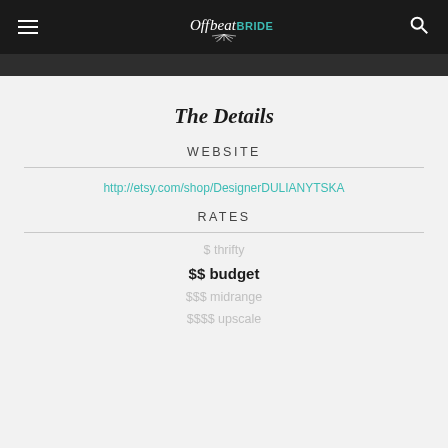Offbeat Bride
The Details
WEBSITE
http://etsy.com/shop/DesignerDULIANYTSKA
RATES
$ thrifty
$$ budget
$$$ midrange
$$$$ upscale